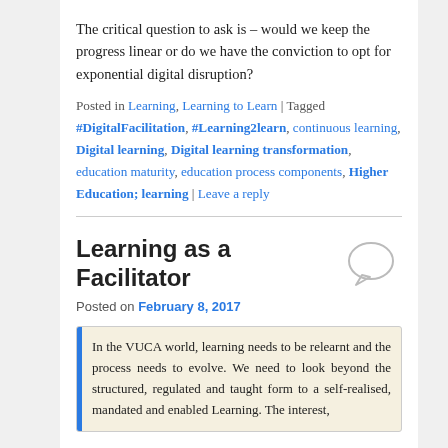The critical question to ask is – would we keep the progress linear or do we have the conviction to opt for exponential digital disruption?
Posted in Learning, Learning to Learn | Tagged #DigitalFacilitation, #Learning2learn, continuous learning, Digital learning, Digital learning transformation, education maturity, education process components, Higher Education; learning | Leave a reply
Learning as a Facilitator
Posted on February 8, 2017
In the VUCA world, learning needs to be relearnt and the process needs to evolve. We need to look beyond the structured, regulated and taught form to a self-realised, mandated and enabled Learning. The interest,